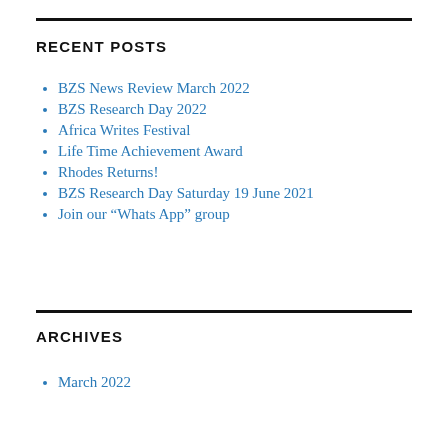RECENT POSTS
BZS News Review March 2022
BZS Research Day 2022
Africa Writes Festival
Life Time Achievement Award
Rhodes Returns!
BZS Research Day Saturday 19 June 2021
Join our “Whats App” group
ARCHIVES
March 2022